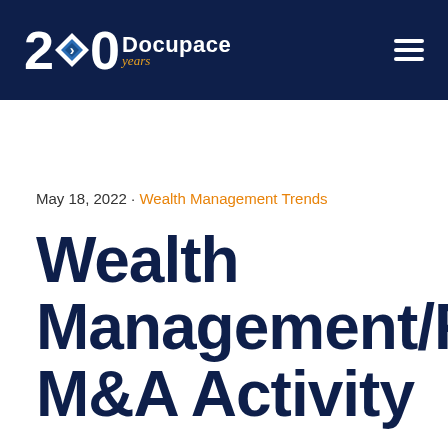[Figure (logo): Docupace 20 years logo with diamond icon in white and blue on dark navy header bar]
May 18, 2022 · Wealth Management Trends
Wealth Management/RIA M&A Activity